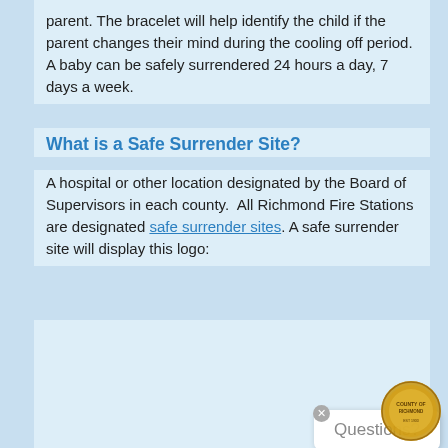parent. The bracelet will help identify the child if the parent changes their mind during the cooling off period. A baby can be safely surrendered 24 hours a day, 7 days a week.
What is a Safe Surrender Site?
A hospital or other location designated by the Board of Supervisors in each county.  All Richmond Fire Stations are designated safe surrender sites. A safe surrender site will display this logo:
[Figure (logo): Safe surrender site logo — small icon in a bordered white box showing a house/shelter symbol]
Does a Parent Have to Give Any Information to the People Taking the Baby?
No. Nothing is required. Hospital personnel will give the parent a medical information questionnaire designed to gather family medical history, which would be useful in caring for the
[Figure (logo): Richmond county official seal — gold circular emblem]